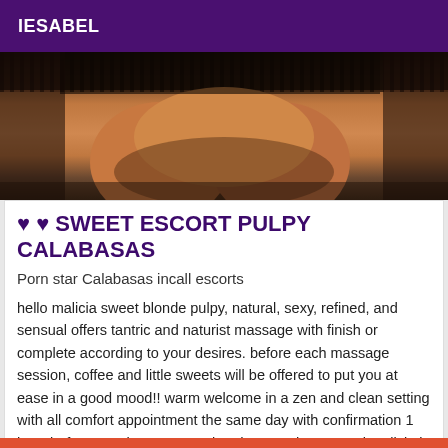IESABEL
[Figure (photo): Close-up photo of a person wearing a black lace outfit, showing legs/lower body against a dark background.]
♥ ♥ SWEET ESCORT PULPY CALABASAS
Porn star Calabasas incall escorts
hello malicia sweet blonde pulpy, natural, sexy, refined, and sensual offers tantric and naturist massage with finish or complete according to your desires. before each massage session, coffee and little sweets will be offered to put you at ease in a good mood!! warm welcome in a zen and clean setting with all comfort appointment the same day with confirmation 1 hour before my photos are real and recent the sensual malicia is listening to you...